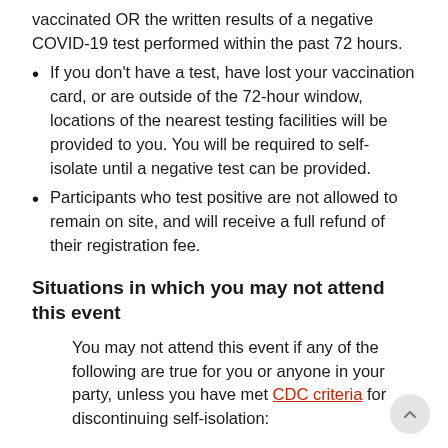vaccinated OR the written results of a negative COVID-19 test performed within the past 72 hours.
If you don't have a test, have lost your vaccination card, or are outside of the 72-hour window, locations of the nearest testing facilities will be provided to you. You will be required to self-isolate until a negative test can be provided.
Participants who test positive are not allowed to remain on site, and will receive a full refund of their registration fee.
Situations in which you may not attend this event
You may not attend this event if any of the following are true for you or anyone in your party, unless you have met CDC criteria for discontinuing self-isolation: